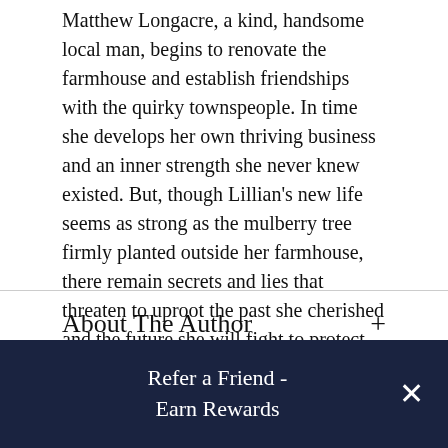Matthew Longacre, a kind, handsome local man, begins to renovate the farmhouse and establish friendships with the quirky townspeople. In time she develops her own thriving business and an inner strength she never knew existed. But, though Lillian's new life seems as strong as the mulberry tree firmly planted outside her farmhouse, there remain secrets and lies that threaten to uproot the past she cherished and the future she will fight to protect.
About The Author
About The Reader
Refer a Friend - Earn Rewards